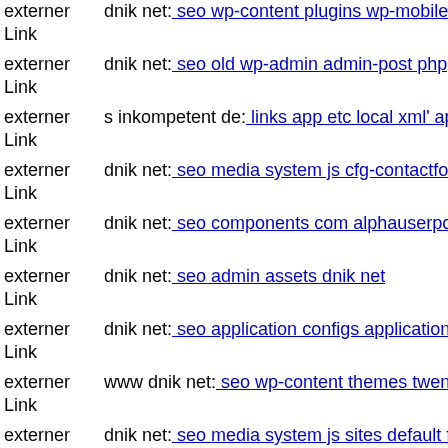externer Link | dnik net: seo wp-content plugins wp-mobile-detector cache
externer Link | dnik net: seo old wp-admin admin-post php
externer Link | s inkompetent de: links app etc local xml' app etc api s inkompetent de
externer Link | dnik net: seo media system js cfg-contactform-16 inc wp-content
externer Link | dnik net: seo components com alphauserpoints
externer Link | dnik net: seo admin assets dnik net
externer Link | dnik net: seo application configs application ini
externer Link | www dnik net: seo wp-content themes twentyfourteen functions
externer Link | dnik net: seo media system js sites default files logs magic php
externer Link | www inkompetent de: seo
externer Link | dnik net: seo wp-admin magmi dnik net
externer Link | mail inkompetent de: links media components com b2icons